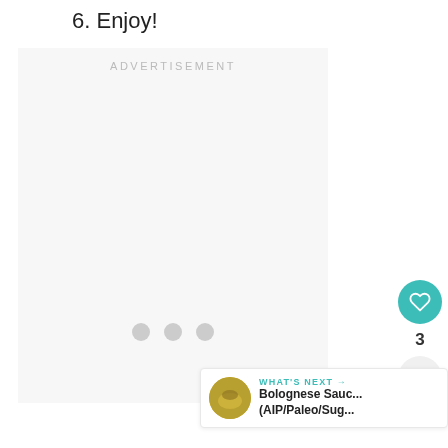6. Enjoy!
[Figure (other): Advertisement placeholder box with centered 'ADVERTISEMENT' label and three loading dots in the center]
[Figure (other): Heart (like) button in teal circle, count '3', and share button in light circle — social action panel]
WHAT'S NEXT → Bolognese Sauc... (AIP/Paleo/Sug...